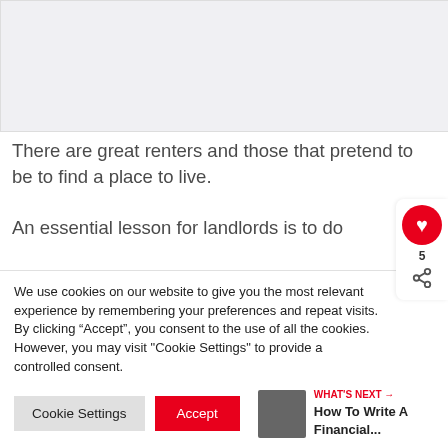[Figure (photo): Image placeholder area at top of page, light gray background]
There are great renters and those that pretend to be to find a place to live.
An essential lesson for landlords is to do
We use cookies on our website to give you the most relevant experience by remembering your preferences and repeat visits. By clicking “Accept”, you consent to the use of all the cookies. However, you may visit "Cookie Settings" to provide a controlled consent.